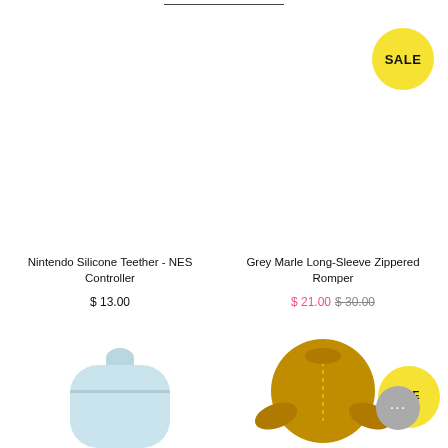[Figure (other): Top horizontal divider line]
[Figure (other): SALE badge yellow circle top right]
Nintendo Silicone Teether - NES Controller
$ 13.00
Grey Marle Long-Sleeve Zippered Romper
$ 21.00  $ 30.00
[Figure (photo): Light blue silicone sippy cup bottom partial view]
[Figure (photo): Mustard yellow long-sleeve zippered baby romper with SALE badge and chat button]